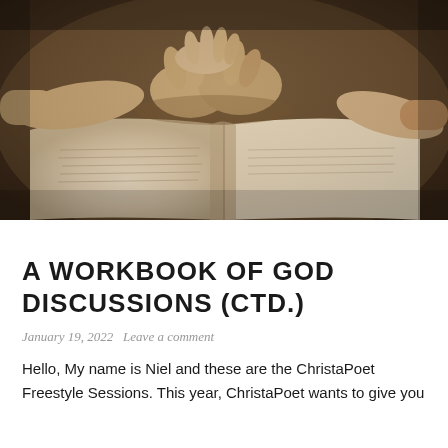[Figure (photo): Photograph of open Bible with hands clasped in prayer on top, warm dark background, multiple hands visible around the edges of the open book]
A WORKBOOK OF GOD DISCUSSIONS (CTD.)
January 19, 2022   Leave a comment
Hello, My name is Niel and these are the ChristaPoet Freestyle Sessions. This year, ChristaPoet wants to give you